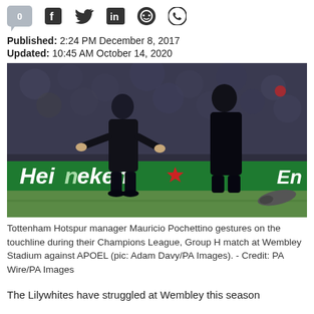0 [social share icons: Facebook, Twitter, LinkedIn, Reddit, WhatsApp]
Published: 2:24 PM December 8, 2017
Updated: 10:45 AM October 14, 2020
[Figure (photo): Tottenham Hotspur manager Mauricio Pochettino gesturing on the touchline during a Champions League Group H match at Wembley Stadium against APOEL. Heineken advertising board visible behind him.]
Tottenham Hotspur manager Mauricio Pochettino gestures on the touchline during their Champions League, Group H match at Wembley Stadium against APOEL (pic: Adam Davy/PA Images). - Credit: PA Wire/PA Images
The Lilywhites have struggled at Wembley this season